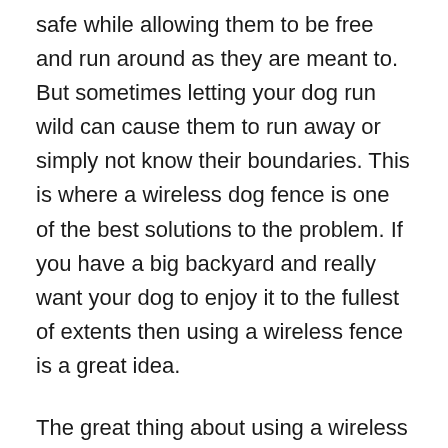safe while allowing them to be free and run around as they are meant to. But sometimes letting your dog run wild can cause them to run away or simply not know their boundaries. This is where a wireless dog fence is one of the best solutions to the problem. If you have a big backyard and really want your dog to enjoy it to the fullest of extents then using a wireless fence is a great idea.
The great thing about using a wireless fence is once the dog realizes where it should and shouldn't be going after using it for a period of months or even weeks they won't even need the collar at all. It' also a great way to teach your dog boundaries of where he/she shouldn't go